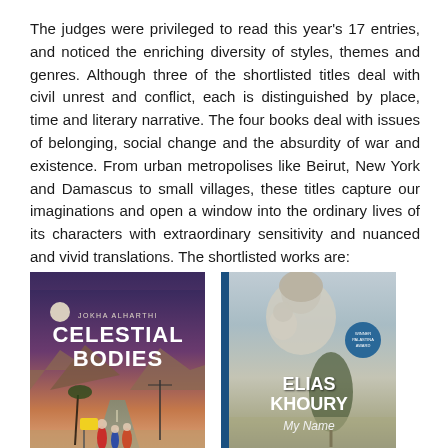The judges were privileged to read this year's 17 entries, and noticed the enriching diversity of styles, themes and genres. Although three of the shortlisted titles deal with civil unrest and conflict, each is distinguished by place, time and literary narrative. The four books deal with issues of belonging, social change and the absurdity of war and existence. From urban metropolises like Beirut, New York and Damascus to small villages, these titles capture our imaginations and open a window into the ordinary lives of its characters with extraordinary sensitivity and nuanced and vivid translations. The shortlisted works are:
[Figure (illustration): Book cover of 'Celestial Bodies' by Jokha Alharthi showing a desert road scene with mountains, figures in colorful robes, and a moon]
[Figure (illustration): Book cover of 'My Name' by Elias Khoury showing a woman and child in a blue-tinted scene with a blue award badge]